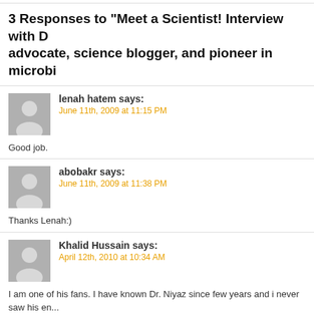3 Responses to “Meet a Scientist! Interview with D... advocate, science blogger, and pioneer in microbi...
lenah hatem says: June 11th, 2009 at 11:15 PM
Good job.
abobakr says: June 11th, 2009 at 11:38 PM
Thanks Lenah:)
Khalid Hussain says: April 12th, 2010 at 10:34 AM
I am one of his fans. I have known Dr. Niyaz since few years and i never saw his en... He is a gifted person who will definitely impress you with his share knowledge and v... I wish him all the best for all of his future pursuits.
Leave a Reply
You must be logged in to post a comment. Login »